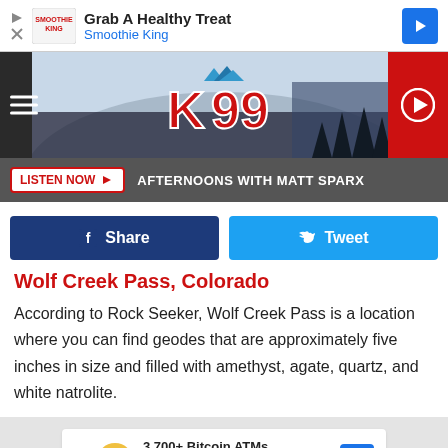[Figure (screenshot): Top advertisement banner: Smoothie King - Grab A Healthy Treat]
[Figure (screenshot): K99 radio station header with logo, hamburger menu, and play button]
[Figure (screenshot): Listen Now bar with AFTERNOONS WITH MATT SPARX text]
[Figure (screenshot): Facebook Share and Twitter Tweet social buttons]
Wolf Creek Pass, Colorado
According to Rock Seeker, Wolf Creek Pass is a location where you can find geodes that are approximately five inches in size and filled with amethyst, agate, quartz, and white natrolite.
[Figure (screenshot): Bottom advertisement: 3,700+ Bitcoin ATMs Nationwid - CoinFlip Bitcoin ATM]